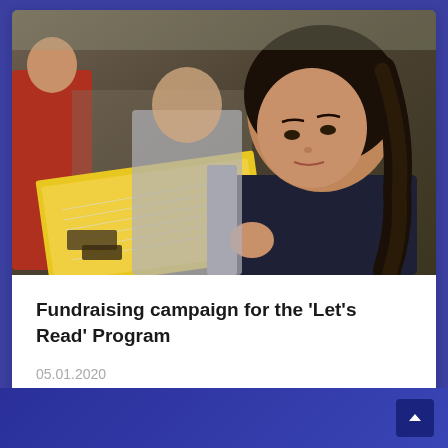[Figure (photo): Children reading books together in a group setting; a young girl with braided hair in the foreground looks down at an open book with a yellow cover, others visible in background.]
Fundraising campaign for the 'Let's Read' Program
05.01.2020